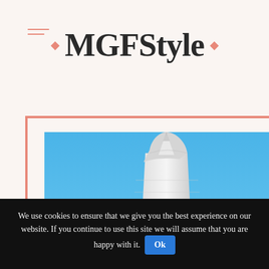[Figure (logo): MGFStyle logo with coral diamond decorators and hamburger menu icon in top left]
[Figure (photo): Photo of Dubai or similar city skyline with tall skyscrapers including a pointed tower, ornate mid-rise building, and palm tree fronds in upper right, against a clear blue sky. Image is displayed within a coral/salmon colored border frame with a gray shadow block offset to the lower right.]
We use cookies to ensure that we give you the best experience on our website. If you continue to use this site we will assume that you are happy with it.  Ok